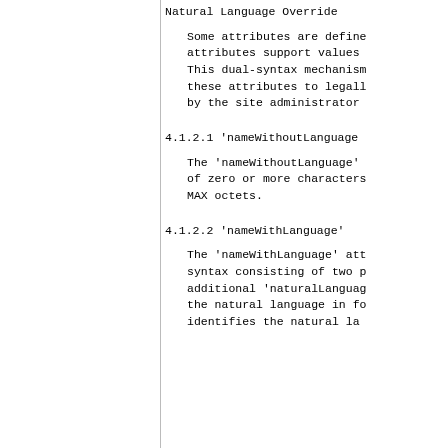Natural Language Override
Some attributes are defined attributes support values This dual-syntax mechanism these attributes to legally by the site administrator
4.1.2.1 'nameWithoutLanguage
The 'nameWithoutLanguage' of zero or more characters MAX octets.
4.1.2.2 'nameWithLanguage'
The 'nameWithLanguage' att syntax consisting of two p additional 'naturalLanguag the natural language in fo identifies the natural la